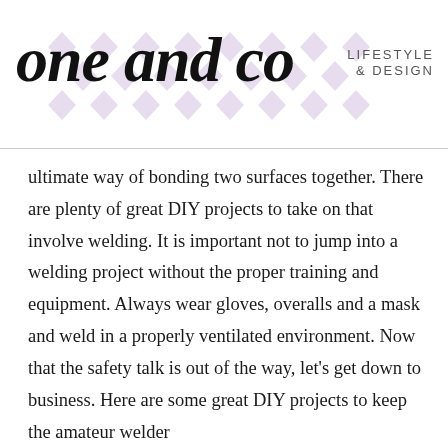[Figure (logo): One and Co lifestyle & design blog logo with script font and purple diamond pattern background]
ultimate way of bonding two surfaces together. There are plenty of great DIY projects to take on that involve welding. It is important not to jump into a welding project without the proper training and equipment. Always wear gloves, overalls and a mask and weld in a properly ventilated environment. Now that the safety talk is out of the way, let's get down to business. Here are some great DIY projects to keep the amateur welder